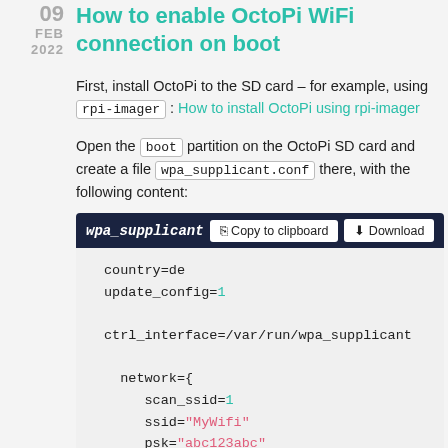09 FEB 2022
How to enable OctoPi WiFi connection on boot
First, install OctoPi to the SD card – for example, using rpi-imager : How to install OctoPi using rpi-imager
Open the boot partition on the OctoPi SD card and create a file wpa_supplicant.conf there, with the following content:
[Figure (screenshot): Code block showing wpa_supplicant.conf file content with header bar containing Copy to clipboard and Download buttons. Code content: country=de, update_config=1, ctrl_interface=/var/run/wpa_supplicant, network={ scan_ssid=1, ssid="MyWifi", psk="abc123abc", }]